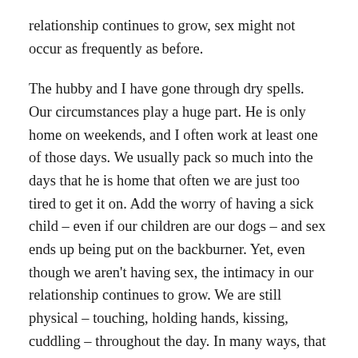relationship continues to grow, sex might not occur as frequently as before.
The hubby and I have gone through dry spells. Our circumstances play a huge part. He is only home on weekends, and I often work at least one of those days. We usually pack so much into the days that he is home that often we are just too tired to get it on. Add the worry of having a sick child – even if our children are our dogs – and sex ends up being put on the backburner. Yet, even though we aren't having sex, the intimacy in our relationship continues to grow. We are still physical – touching, holding hands, kissing, cuddling – throughout the day. In many ways, that is more important that intercourse. It keeps us connected.
One day soon, though, we will devote some time to